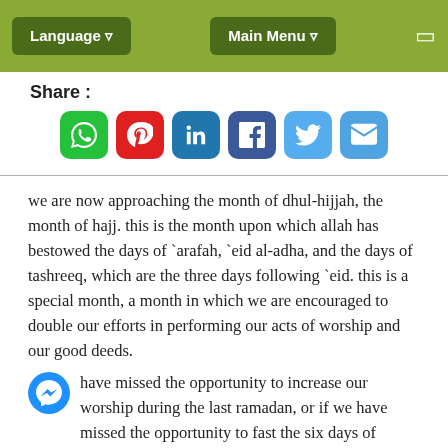Language  |  Main Menu
Share :
[Figure (other): Social sharing icons: WhatsApp, Pinterest, LinkedIn, Facebook, Twitter, Email]
we are now approaching the month of dhul-hijjah, the month of hajj. this is the month upon which allah has bestowed the days of `arafah, `eid al-adha, and the days of tashreeq, which are the three days following `eid. this is a special month, a month in which we are encouraged to double our efforts in performing our acts of worship and our good deeds.
have missed the opportunity to increase our worship during the last ramadan, or if we have missed the opportunity to fast the six days of shawwal, then let it